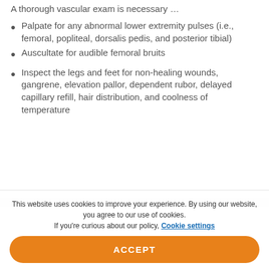A thorough vascular exam is necessary …
Palpate for any abnormal lower extremity pulses (i.e., femoral, popliteal, dorsalis pedis, and posterior tibial)
Auscultate for audible femoral bruits
Inspect the legs and feet for non-healing wounds, gangrene, elevation pallor, dependent rubor, delayed capillary refill, hair distribution, and coolness of temperature
This website uses cookies to improve your experience. By using our website, you agree to our use of cookies. If you're curious about our policy, Cookie settings
ACCEPT